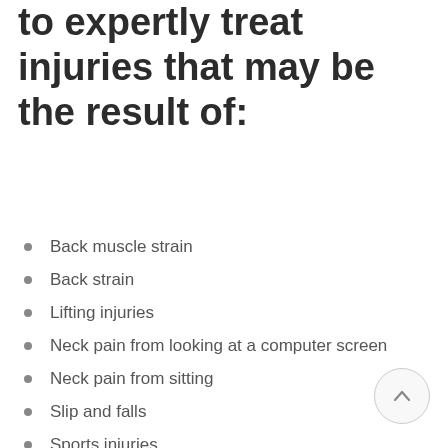to expertly treat injuries that may be the result of:
Back muscle strain
Back strain
Lifting injuries
Neck pain from looking at a computer screen
Neck pain from sitting
Slip and falls
Sports injuries
Traumatic injuries
Twisting injuries
Whiplash
Workers compensation injuries
Workplace injuries